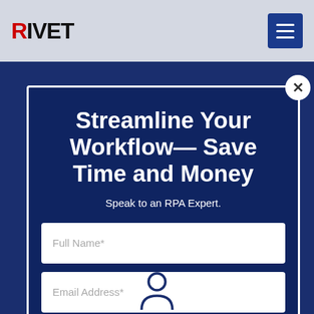RIVET
Streamline Your Workflow— Save Time and Money
Speak to an RPA Expert.
Full Name*
Email Address*
Phone Number*